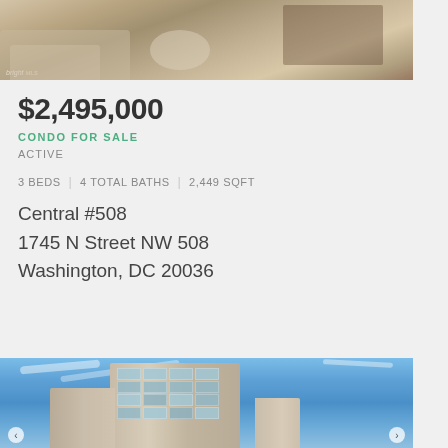[Figure (photo): Interior photo of a living room with beige/cream furniture and wooden furniture, with 'bright MLS' watermark in bottom left corner]
$2,495,000
CONDO FOR SALE
ACTIVE
3 BEDS | 4 TOTAL BATHS | 2,449 SQFT
Central #508
1745 N Street NW 508
Washington, DC 20036
[Figure (photo): Exterior photo of a modern multi-story condominium building with glass windows against a bright blue sky with light clouds]